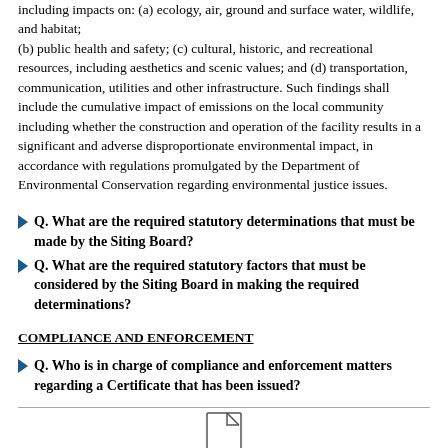including impacts on: (a) ecology, air, ground and surface water, wildlife, and habitat; (b) public health and safety; (c) cultural, historic, and recreational resources, including aesthetics and scenic values; and (d) transportation, communication, utilities and other infrastructure. Such findings shall include the cumulative impact of emissions on the local community including whether the construction and operation of the facility results in a significant and adverse disproportionate environmental impact, in accordance with regulations promulgated by the Department of Environmental Conservation regarding environmental justice issues.
Q. What are the required statutory determinations that must be made by the Siting Board?
Q. What are the required statutory factors that must be considered by the Siting Board in making the required determinations?
COMPLIANCE AND ENFORCEMENT
Q. Who is in charge of compliance and enforcement matters regarding a Certificate that has been issued?
[Figure (other): Document/page icon at bottom center of page]